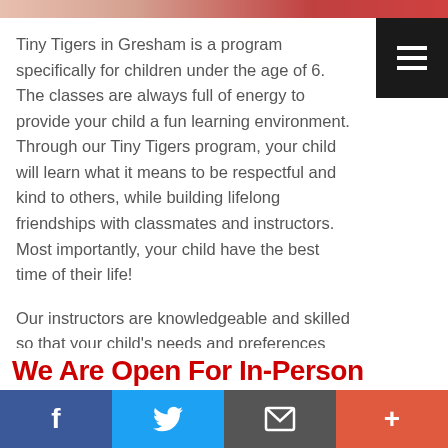[Figure (photo): Top strip showing partial photo of children/people in martial arts or activity setting]
Tiny Tigers in Gresham is a program specifically for children under the age of 6. The classes are always full of energy to provide your child a fun learning environment. Through our Tiny Tigers program, your child will learn what it means to be respectful and kind to others, while building lifelong friendships with classmates and instructors. Most importantly, your child have the best time of their life!
Our instructors are knowledgeable and skilled so that your child's needs and preferences are met in a timely manner. We want to see everyone succeed on the mat, at home, and at school! Tiny Tigers in Gresham will help your child perfect
We Are Open For In-Person
f | Twitter | Email | +